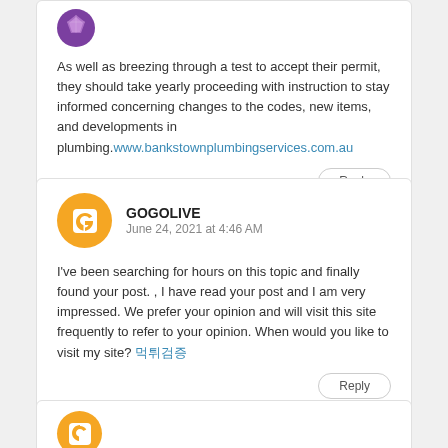[Figure (illustration): Purple gemstone/avatar icon at top of first comment card]
As well as breezing through a test to accept their permit, they should take yearly proceeding with instruction to stay informed concerning changes to the codes, new items, and developments in plumbing.www.bankstownplumbingservices.com.au
Reply
[Figure (illustration): Orange circle with white Blogger 'B' icon for user GOGOLIVE]
GOGOLIVE
June 24, 2021 at 4:46 AM
I've been searching for hours on this topic and finally found your post. , I have read your post and I am very impressed. We prefer your opinion and will visit this site frequently to refer to your opinion. When would you like to visit my site? 먹튀검증
Reply
[Figure (illustration): Orange circle avatar at bottom of page, partially visible]